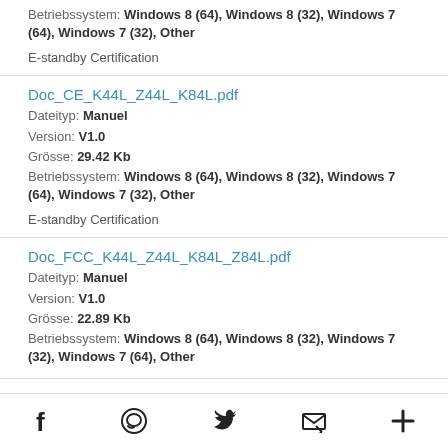Betriebssystem: Windows 8 (64), Windows 8 (32), Windows 7 (64), Windows 7 (32), Other
E-standby Certification
Doc_CE_K44L_Z44L_K84L.pdf
Dateityp: Manuel
Version: V1.0
Grösse: 29.42 Kb
Betriebssystem: Windows 8 (64), Windows 8 (32), Windows 7 (64), Windows 7 (32), Other
E-standby Certification
Doc_FCC_K44L_Z44L_K84L_Z84L.pdf
Dateityp: Manuel
Version: V1.0
Grösse: 22.89 Kb
Betriebssystem: Windows 8 (64), Windows 8 (32), Windows 7 (32), Windows 7 (64), Other
Social share icons: Facebook, WhatsApp, Twitter, Email, More